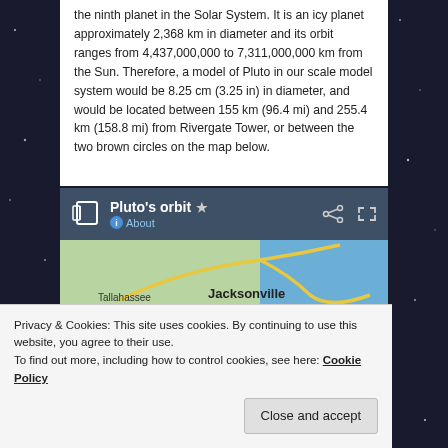the ninth planet in the Solar System. It is an icy planet approximately 2,368 km in diameter and its orbit ranges from 4,437,000,000 to 7,311,000,000 km from the Sun. Therefore, a model of Pluto in our scale model system would be 8.25 cm (3.25 in) in diameter, and would be located between 155 km (96.4 mi) and 255.4 km (158.8 mi) from Rivergate Tower, or between the two brown circles on the map below.
[Figure (screenshot): Google Maps screenshot showing Pluto's orbit map with header bar containing title 'Pluto's orbit', share and expand icons, and a map view showing Tallahassee, Jacksonville, and Panama City area of Florida.]
Privacy & Cookies: This site uses cookies. By continuing to use this website, you agree to their use.
To find out more, including how to control cookies, see here: Cookie Policy